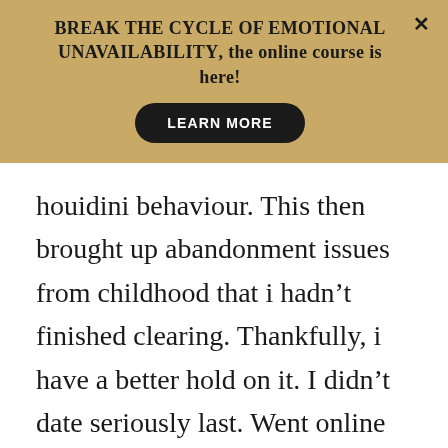BREAK THE CYCLE OF EMOTIONAL UNAVAILABILITY, the online course is here!
LEARN MORE
houidini behaviour. This then brought up abandonment issues from childhood that i hadn't finished clearing. Thankfully, i have a better hold on it. I didn't date seriously last. Went online and tbh i don't think it's for me. Maybe i was doing it wrong #shrug